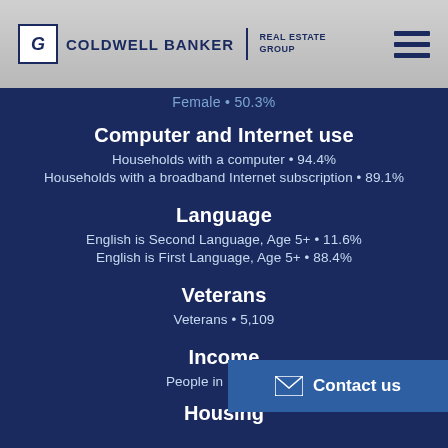COLDWELL BANKER | REAL ESTATE GROUP
Female • 50.3%
Computer and Internet use
Households with a computer • 94.4%
Households with a broadband Internet subscription • 89.1%
Language
English is Second Language, Age 5+ • 11.6%
English is First Language, Age 5+ • 88.4%
Veterans
Veterans • 5,109
Income
People in Poverty •
Housing